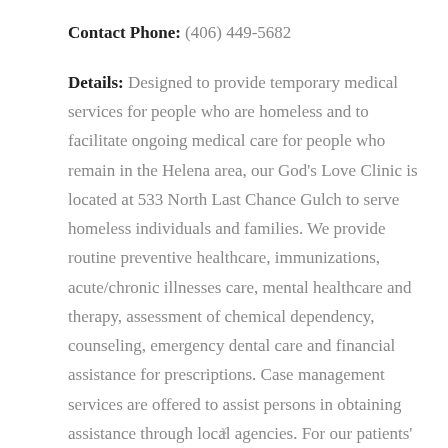Contact Phone: (406) 449-5682
Details: Designed to provide temporary medical services for people who are homeless and to facilitate ongoing medical care for people who remain in the Helena area, our God's Love Clinic is located at 533 North Last Chance Gulch to serve homeless individuals and families. We provide routine preventive healthcare, immunizations, acute/chronic illnesses care, mental healthcare and therapy, assessment of chemical dependency, counseling, emergency dental care and financial assistance for prescriptions. Case management services are offered to assist persons in obtaining assistance through local agencies. For our patients' convenience, our services are offered at different locations throughout the workweek. There is no